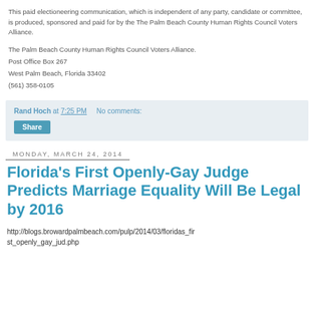This paid electioneering communication, which is independent of any party, candidate or committee, is produced, sponsored and paid for by the The Palm Beach County Human Rights Council Voters Alliance.
The Palm Beach County Human Rights Council Voters Alliance.
Post Office Box 267
West Palm Beach, Florida 33402
(561) 358-0105
Rand Hoch at 7:25 PM    No comments:
Share
Monday, March 24, 2014
Florida's First Openly-Gay Judge Predicts Marriage Equality Will Be Legal by 2016
http://blogs.browardpalmbeach.com/pulp/2014/03/floridas_first_openly_gay_jud.php